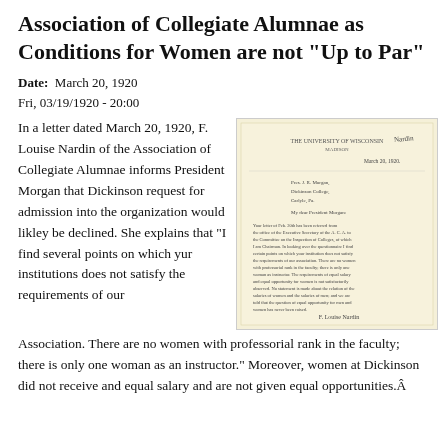Association of Collegiate Alumnae as Conditions for Women are not "Up to Par"
Date: March 20, 1920
Fri, 03/19/1920 - 20:00
In a letter dated March 20, 1920, F. Louise Nardin of the Association of Collegiate Alumnae informs President Morgan that Dickinson request for admission into the organization would likley be declined. She explains that "I find several points on which yur institutions does not satisfy the requirements of our Association. There are no women with professorial rank in the faculty; there is only one woman as an instructor." Moreover, women at Dickinson did not receive and equal salary and are not given equal opportunities.Â
[Figure (photo): A scanned letter on yellow-toned paper dated March 20, 1920, with typewritten text addressed to President Morgan regarding Dickinson College's application to the Association of Collegiate Alumnae. Signed by F. Louise Nardin at the bottom.]